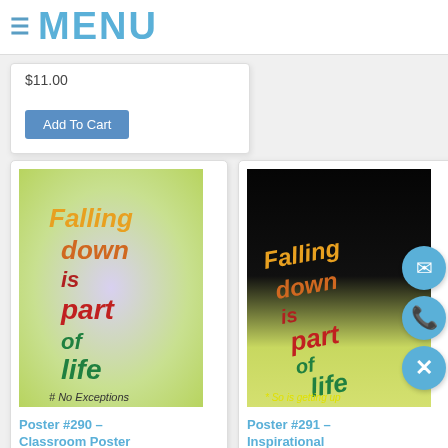≡ MENU
$11.00
Add To Cart
[Figure (illustration): Motivational poster #290 with yellow-green gradient background, text reading 'Falling down is part of life # No Exceptions' in colorful lettered style]
Poster #290 – Classroom Poster
[Figure (illustration): Motivational poster #291 with dark/black top gradient fading to yellow-green, text reading 'Falling down is part of life * So is getting up' in colorful lettered style]
Poster #291 – Inspirational